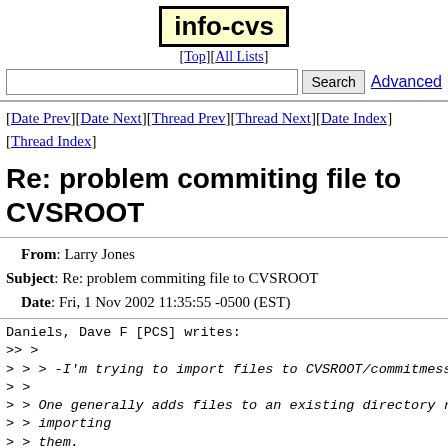info-cvs
[Top][All Lists]
Search  Advanced
[Date Prev][Date Next][Thread Prev][Thread Next][Date Index][Thread Index]
Re: problem commiting file to CVSROOT
From: Larry Jones
Subject: Re: problem commiting file to CVSROOT
Date: Fri, 1 Nov 2002 11:35:55 -0500 (EST)
Daniels, Dave F [PCS] writes:
>> >
> > > -I'm trying to import files to CVSROOT/commitmessag
> >
> > One generally adds files to an existing directory ra
> > importing
> > them.
> That's what I'm doing. Please don't get hung up on sema